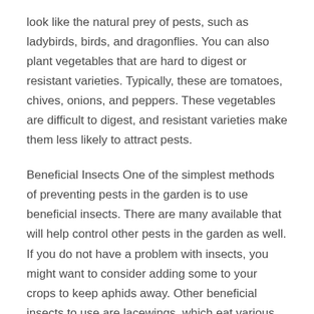look like the natural prey of pests, such as ladybirds, birds, and dragonflies. You can also plant vegetables that are hard to digest or resistant varieties. Typically, these are tomatoes, chives, onions, and peppers. These vegetables are difficult to digest, and resistant varieties make them less likely to attract pests.
Beneficial Insects One of the simplest methods of preventing pests in the garden is to use beneficial insects. There are many available that will help control other pests in the garden as well. If you do not have a problem with insects, you might want to consider adding some to your crops to keep aphids away. Other beneficial insects to use are lacewings, which eat various pests, and leafhoppers, which eat small trees and plant parts.